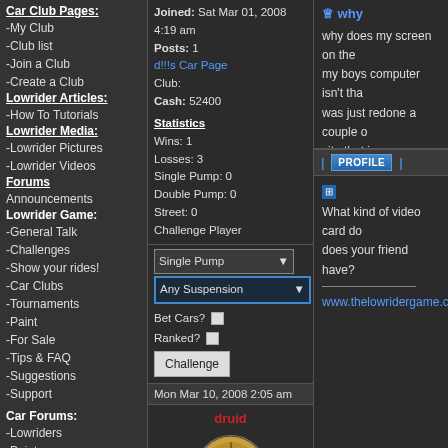Car Club Pages:
-My Club
-Club list
-Join a Club
-Create a Club
Lowrider Articles:
-How To Tutorials
Lowrider Media:
-Lowrider Pictures
-Lowrider Videos
Forums
Announcements
Lowrider Game:
-General Talk
-Challenges
-Show your rides!
-Car Clubs
-Tournaments
-Paint
-For Sale
-Tips & FAQ
-Suggestions
-Support
Car Forums:
-Lowriders
-Paint
-Hydraulics
-Interiors
-Car Modifications
-Engine
-Sounds & Interior
-Rims & Tires
-Car Shows
-Cars and Projects
Joined: Sat Mar 01, 2008 4:19 am
Posts: 1
d!!!s Car Page
Club:
Cash: 52400
Statistics
Wins: 1
Losses: 3
Single Pump: 0
Double Pump: 0
Street: 0
Challenge Player
Single Pump | Any Suspension | Bet Cars? | Ranked? | Challenge
Mon Mar 10, 2008 2:05 am
druid
Joined: Mon Feb 12, 2007 6:48 am
Posts: 1833
Location: Los Angeles
druid's Car Page
Club: Merry Melodies
Why
why does my screen on the my boys computer isn't tha was just redone a couple o site that i go on seem to be
What kind of video card do does your friend have?
www.thelowridergame.com